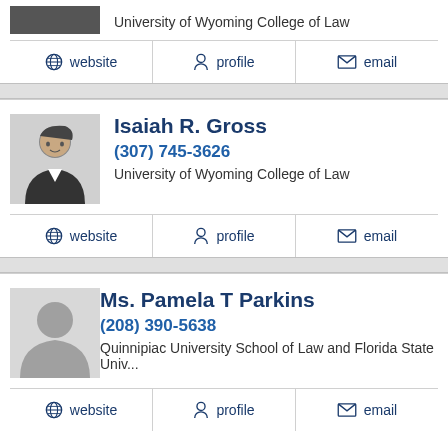University of Wyoming College of Law
website | profile | email
Isaiah R. Gross
(307) 745-3626
University of Wyoming College of Law
website | profile | email
Ms. Pamela T Parkins
(208) 390-5638
Quinnipiac University School of Law and Florida State Univ...
website | profile | email